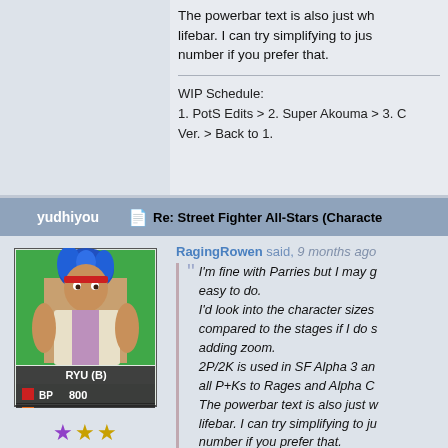The powerbar text is also just wh... lifebar. I can try simplifying to jus... number if you prefer that.
WIP Schedule:
1. PotS Edits > 2. Super Akouma > 3. C... Ver. > Back to 1.
yudhiyou    Re: Street Fighter All-Stars (Characte...
[Figure (illustration): Pixel art avatar of Ryu (B) character card showing a blue-haired fighter with BP 800 and SP +3 stats]
RagingRowen said, 9 months ag...
"I'm fine with Parries but I may g... easy to do.
I'd look into the character sizes... compared to the stages if I do s... adding zoom.
2P/2K is used in SF Alpha 3 an... all P+Ks to Rages and Alpha C...
The powerbar text is also just w... lifebar. I can try simplifying to ju... number if you prefer that.